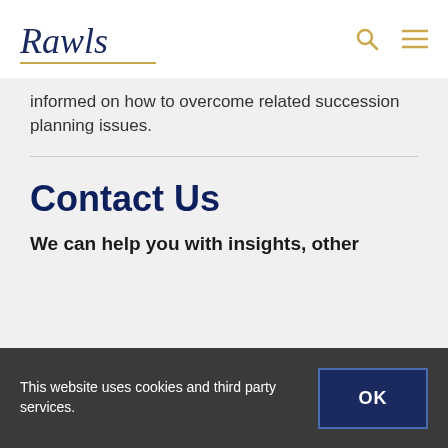Rawls
informed on how to overcome related succession planning issues.
Contact Us
We can help you with insights, other
This website uses cookies and third party services.